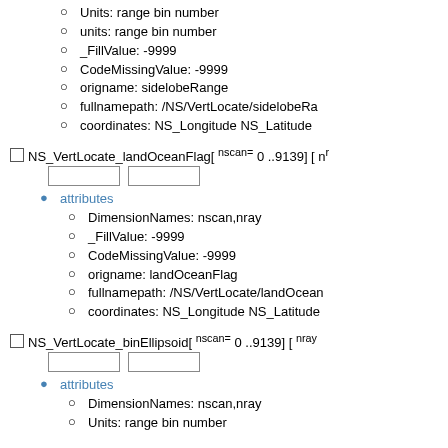Units: range bin number
units: range bin number
_FillValue: -9999
CodeMissingValue: -9999
origname: sidelobeRange
fullnamepath: /NS/VertLocate/sidelobeRa...
coordinates: NS_Longitude NS_Latitude
NS_VertLocate_landOceanFlag[ nscan= 0 ..9139] [ nr...
attributes
DimensionNames: nscan,nray
_FillValue: -9999
CodeMissingValue: -9999
origname: landOceanFlag
fullnamepath: /NS/VertLocate/landOcean...
coordinates: NS_Longitude NS_Latitude
NS_VertLocate_binEllipsoid[ nscan= 0 ..9139] [ nray...
attributes
DimensionNames: nscan,nray
Units: range bin number